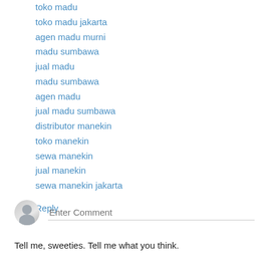toko madu
toko madu jakarta
agen madu murni
madu sumbawa
jual madu
madu sumbawa
agen madu
jual madu sumbawa
distributor manekin
toko manekin
sewa manekin
jual manekin
sewa manekin jakarta
Reply
[Figure (other): User avatar placeholder icon (grey silhouette) next to an Enter Comment input field]
Tell me, sweeties. Tell me what you think.